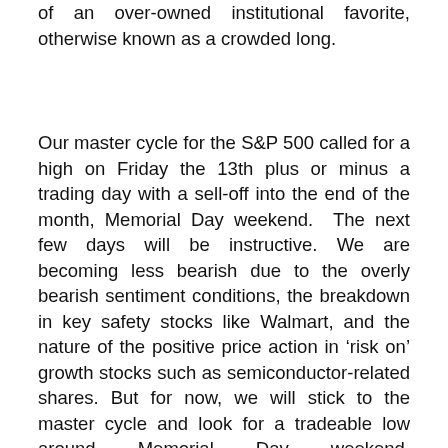of an over-owned institutional favorite, otherwise known as a crowded long.
Our master cycle for the S&P 500 called for a high on Friday the 13th plus or minus a trading day with a sell-off into the end of the month, Memorial Day weekend.  The next few days will be instructive.  We are becoming less bearish due to the overly bearish sentiment conditions, the breakdown in key safety stocks like Walmart, and the nature of the positive price action in ‘risk on’ growth stocks such as semiconductor-related shares.  But for now, we will stick to the master cycle and look for a tradeable low around Memorial Day weekend.  Intermediate-term, the cycle finds a low for the year only by late June.